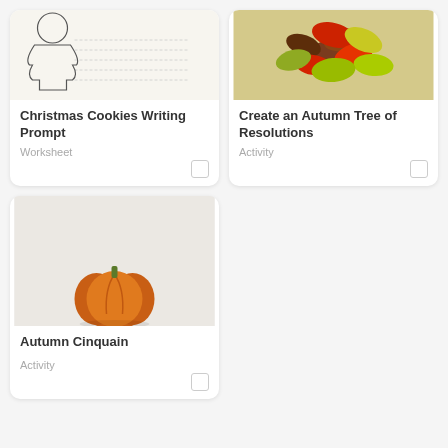[Figure (illustration): Christmas Cookies Writing Prompt worksheet thumbnail showing a Christmas tree outline with dotted writing lines]
Christmas Cookies Writing Prompt
Worksheet
[Figure (photo): Create an Autumn Tree of Resolutions activity thumbnail showing colorful autumn leaves in red, yellow, and brown arranged as a tree]
Create an Autumn Tree of Resolutions
Activity
[Figure (photo): Autumn Cinquain activity thumbnail showing a pumpkin on a white background]
Autumn Cinquain
Activity